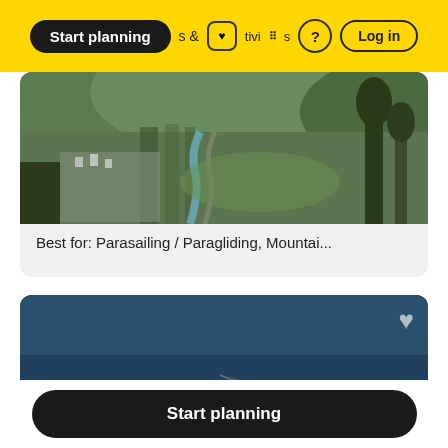[Figure (screenshot): Navigation bar with yellow background showing 'Start planning' black pill button, heart/grid icons, question mark circle, and Log in button]
[Figure (photo): Aerial view of Alpine valley with green hills, river, and trees. Card with caption: Best for: Parasailing / Paragliding, Mountai...]
Best for: Parasailing / Paragliding, Mountai...
[Figure (photo): Photo of Grindelwald ski resort with dark blue sky, snowy mountain slopes and ski lift, white heart icon top right, 'Grindelwald' text overlay at bottom]
Grindelwald
Start planning